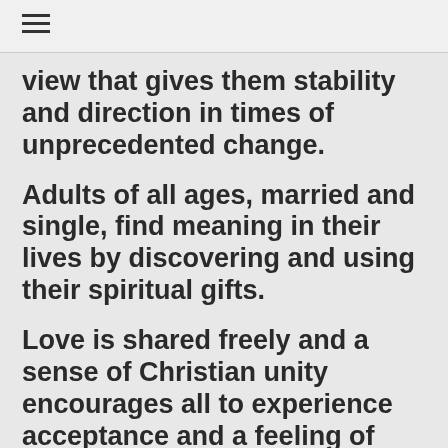view that gives them stability and direction in times of unprecedented change.
Adults of all ages, married and single, find meaning in their lives by discovering and using their spiritual gifts.
Love is shared freely and a sense of Christian unity encourages all to experience acceptance and a feeling of belonging.